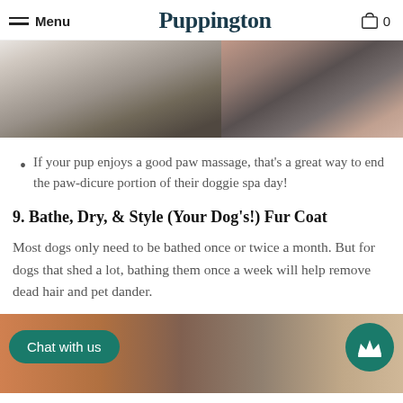Menu | Puppington | 0
[Figure (photo): Close-up photograph of a dog's nose and face, split into two panels showing grayscale and warm-toned views]
If your pup enjoys a good paw massage, that's a great way to end the paw-dicure portion of their doggie spa day!
9. Bathe, Dry, & Style (Your Dog's!) Fur Coat
Most dogs only need to be bathed once or twice a month. But for dogs that shed a lot, bathing them once a week will help remove dead hair and pet dander.
[Figure (photo): Photo of a dog being groomed, with 'Chat with us' chat button overlay and crown/loyalty button]